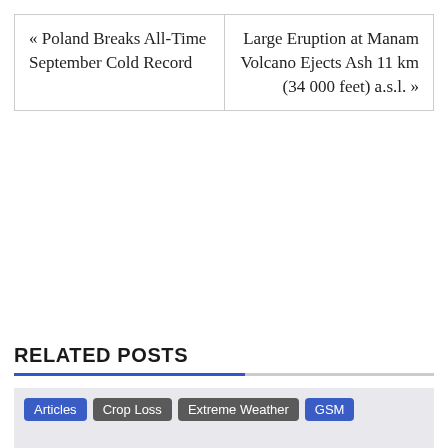« Poland Breaks All-Time September Cold Record
Large Eruption at Manam Volcano Ejects Ash 11 km (34 000 feet) a.s.l. »
RELATED POSTS
Articles  Crop Loss  Extreme Weather  GSM